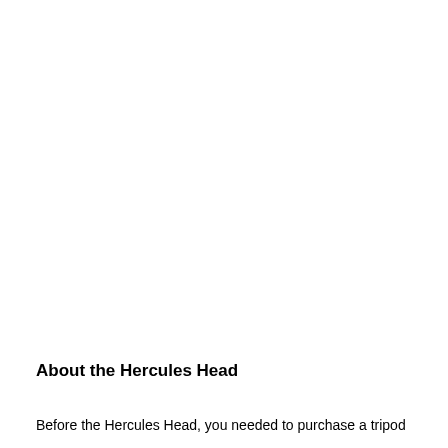About the Hercules Head
Before the Hercules Head, you needed to purchase a tripod